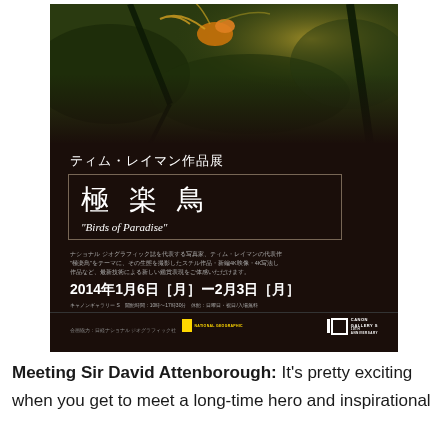[Figure (photo): Exhibition poster for Tim Laman's Birds of Paradise photography exhibition at Canon Gallery S, featuring a dark forest/jungle background with colorful bird of paradise, Japanese text title reading 極楽鳥 (Birds of Paradise), dates 2014年1月6日[月]−2月3日[月], Canon Gallery S 10th Anniversary logo, and National Geographic logo]
Meeting Sir David Attenborough: It's pretty exciting when you get to meet a long-time hero and inspirational